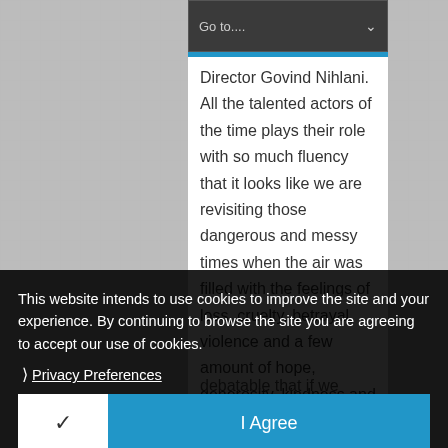[Figure (screenshot): Navigation dropdown bar with 'Go to....' text and a down-arrow chevron, with a blue horizontal divider line beneath it, on a dark grey background]
Director Govind Nihlani. All the talented actors of the time plays their role with so much fluency that it looks like we are revisiting those dangerous and messy times when the air was filled with the feelings of loss, cruelty, betrayal, violence and a few amount of hope, generosity, kindness and humanity too. Visiting history makes us wise and guide us
This website intends to use cookies to improve the site and your experience. By continuing to browse the site you are agreeing to accept our use of cookies.
❯ Privacy Preferences
debatable that if we really visit history with that angle, or we even learn anything from the history, the stuff of entertainment of course (you can